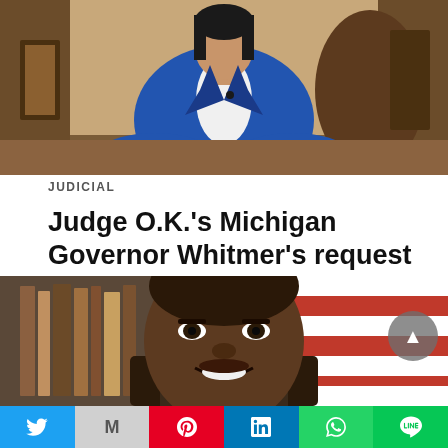[Figure (photo): Woman in blue blazer seated at a desk, upper body visible, in what appears to be an official office setting]
JUDICIAL
Judge O.K.'s Michigan Governor Whitmer's request for temporary injunction against state's ban on abortion
By Dave Andrusko Oakland County Judge Jacob Cunningham ruled today that county prosecutors cannot enforce… Read More
1 day ago
[Figure (photo): Close-up portrait of a Black man smiling, with a blurred background showing bookshelves and what appears to be a flag]